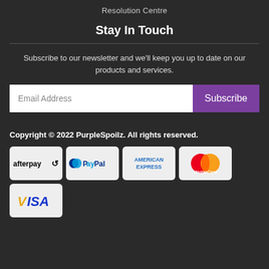Resolution Centre
Stay In Touch
Subscribe to our newsletter and we’ll keep you up to date on our products and services.
[Figure (other): Email subscription form with an email address input field and a purple Subscribe button]
Copyright © 2022 PurpleSpoilz. All rights reserved.
[Figure (other): Payment method logos: Afterpay, PayPal, American Express, MasterCard, Visa]